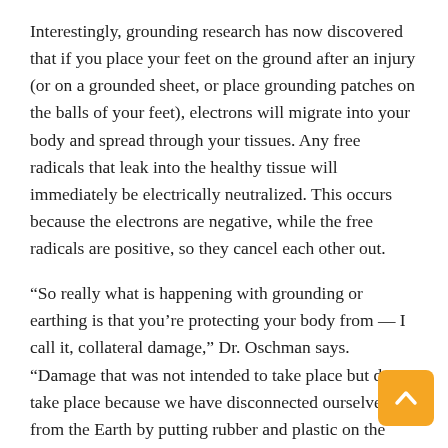Interestingly, grounding research has now discovered that if you place your feet on the ground after an injury (or on a grounded sheet, or place grounding patches on the balls of your feet), electrons will migrate into your body and spread through your tissues. Any free radicals that leak into the healthy tissue will immediately be electrically neutralized. This occurs because the electrons are negative, while the free radicals are positive, so they cancel each other out.
“So really what is happening with grounding or earthing is that you’re protecting your body from — I call it, collateral damage,” Dr. Oschman says. “Damage that was not intended to take place but does take place because we have disconnected ourselves from the Earth by putting rubber and plastic on the bottoms of our shoes.”
Earthing as an Anti-Aging Strategy
One of dominant theories on aging is the free radical theory, which is that aging occurs because of accumulative damage to your body caused by free radicals. You get free radicals when you have an injury or chronic inflammation, from breathing, and from the food you eat.